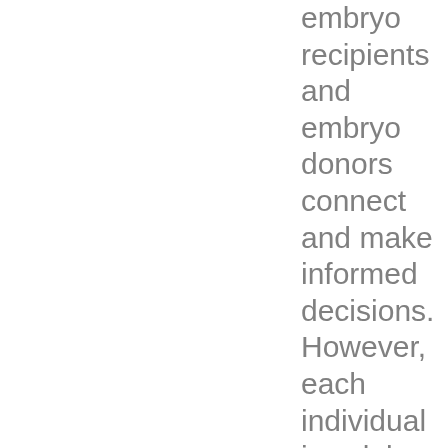embryo recipients and embryo donors connect and make informed decisions. However, each individual is solely responsible for selecting an appropriate embryo donor or embryo recipient for themselves or their families and for complying with all applicable